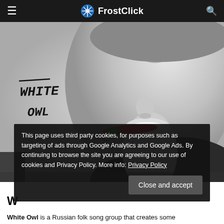FrostClick
[Figure (photo): Black and white photo of a woman holding a red chili pepper in her mouth. The album cover text 'White Owl' is visible in the upper left corner.]
This page uses third party cookies, for purposes such as targeting of ads through Google Analytics and Google Ads. By continuing to browse the site you are agreeing to our use of cookies and Privacy Policy. More info: Privacy Policy
W
White Owl is a Russian folk song group that creates some...